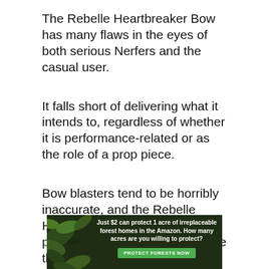The Rebelle Heartbreaker Bow has many flaws in the eyes of both serious Nerfers and the casual user.
It falls short of delivering what it intends to, regardless of whether it is performance-related or as the role of a prop piece.
Bow blasters tend to be horribly inaccurate, and the Rebelle Heartbreaker’s usage of a plunging system renders it worse than expected.
It has been reported that pulling back on the string for that extra inch to prime it is both awkward and tiring, and hinders consistent
[Figure (other): Advertisement banner: dark green forest background with leaves, text reads 'Just $2 can protect 1 acre of irreplaceable forest homes in the Amazon. How many acres are you willing to protect?' with a green button 'PROTECT FORESTS NOW']